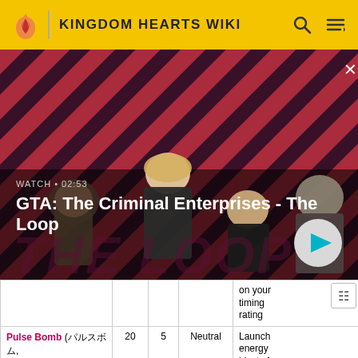KINGDOM HEARTS WIKI
[Figure (screenshot): GTA: The Criminal Enterprises - The Loop video banner with four characters on a red diagonal-striped background. Shows WATCH • 02:53 label and a play button.]
|  |  |  |  | on your timing rating |
| Pulse Bomb (パルスボム, Parusu Bomu?) | 20 | 5 | Neutral | Launch energy blasts fro |